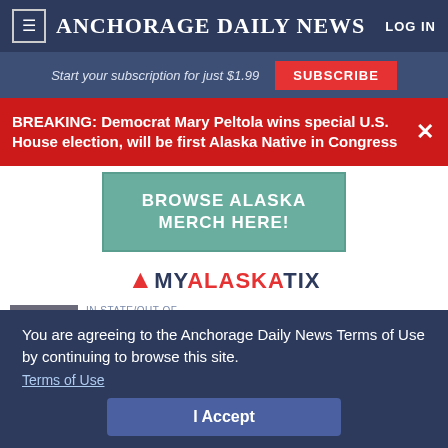Anchorage Daily News
Start your subscription for just $1.99
SUBSCRIBE
BREAKING: Democrat Mary Peltola wins special U.S. House election, will be first Alaska Native in Congress
[Figure (screenshot): Advertisement banner for Browse Alaska Merch Here with teal/green background and mountain imagery]
[Figure (logo): MyAlaskaTix logo in dark blue and red]
You are agreeing to the Anchorage Daily News Terms of Use by continuing to browse this site.
Terms of Use
In State/Out of State Show Coron...
I Accept